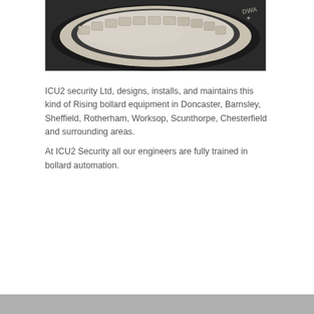[Figure (photo): Close-up photograph of a rising bollard device, showing the top surface with rectangular segmented panels arranged in an arc pattern. The device is circular, light grey/beige in color, with a dark ring around the top and the letters 'DWA' visible on the edge.]
ICU2 security Ltd, designs, installs, and maintains this kind of Rising bollard equipment in Doncaster, Barnsley, Sheffield, Rotherham, Worksop, Scunthorpe, Chesterfield and surrounding areas.

At ICU2 Security all our engineers are fully trained in bollard automation.